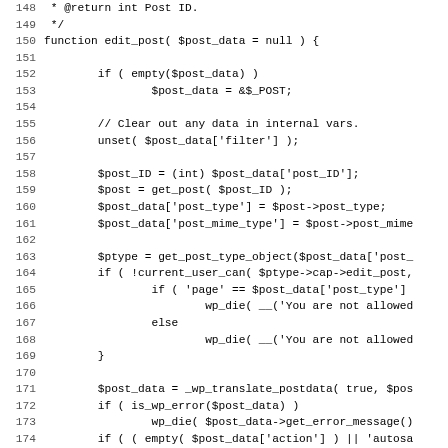[Figure (screenshot): Source code listing showing PHP function edit_post(), lines 148-179, with line numbers on the left and monospace code on the right.]